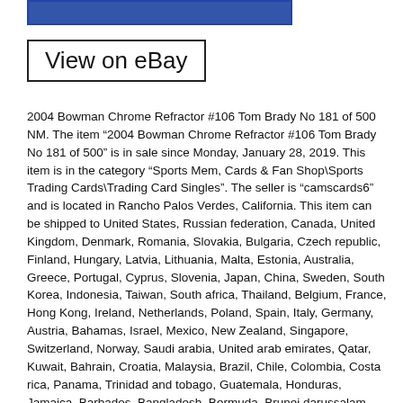[Figure (photo): Top portion of a product listing image (blue banner/image strip)]
View on eBay
2004 Bowman Chrome Refractor #106 Tom Brady No 181 of 500 NM. The item “2004 Bowman Chrome Refractor #106 Tom Brady No 181 of 500” is in sale since Monday, January 28, 2019. This item is in the category “Sports Mem, Cards & Fan Shop\Sports Trading Cards\Trading Card Singles”. The seller is “camscards6” and is located in Rancho Palos Verdes, California. This item can be shipped to United States, Russian federation, Canada, United Kingdom, Denmark, Romania, Slovakia, Bulgaria, Czech republic, Finland, Hungary, Latvia, Lithuania, Malta, Estonia, Australia, Greece, Portugal, Cyprus, Slovenia, Japan, China, Sweden, South Korea, Indonesia, Taiwan, South africa, Thailand, Belgium, France, Hong Kong, Ireland, Netherlands, Poland, Spain, Italy, Germany, Austria, Bahamas, Israel, Mexico, New Zealand, Singapore, Switzerland, Norway, Saudi arabia, United arab emirates, Qatar, Kuwait, Bahrain, Croatia, Malaysia, Brazil, Chile, Colombia, Costa rica, Panama, Trinidad and tobago, Guatemala, Honduras, Jamaica, Barbados, Bangladesh, Bermuda, Brunei darussalam, Bolivia, Ecuador, Egypt, French guiana, Guernsey, Gibraltar, Guadeloupe, Iceland, Jersey, Jordan, Cambodia, Cayman islands, Liechtenstein, Sri lanka, Luxembourg, Monaco, Macao, Martinique, Maldives, Nicaragua, Oman, Peru, Pakistan, Paraguay, Reunion, Viet nam, Uruguay.